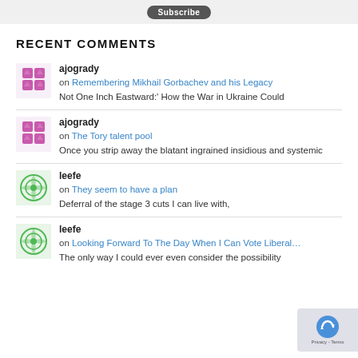RECENT COMMENTS
ajogrady on Remembering Mikhail Gorbachev and his Legacy — Not One Inch Eastward:' How the War in Ukraine Could
ajogrady on The Tory talent pool — Once you strip away the blatant ingrained insidious and systemic
leefe on They seem to have a plan — Deferral of the stage 3 cuts I can live with,
leefe on Looking Forward To The Day When I Can Vote Liberal… — The only way I could ever even consider the possibility